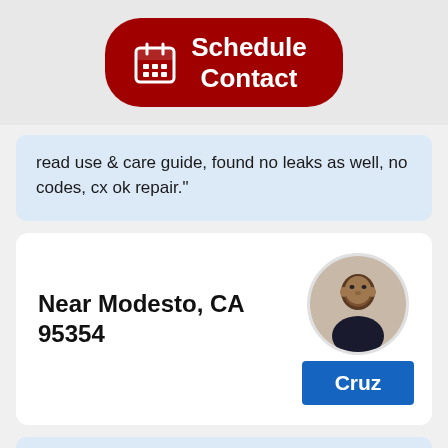[Figure (other): Red rounded button with white calendar icon and text 'Schedule Contact']
read use & care guide, found no leaks as well, no codes, cx ok repair."
Near Modesto, CA 95354
[Figure (photo): Circular profile photo of a man]
Cruz
Job Details: 11/13/2019